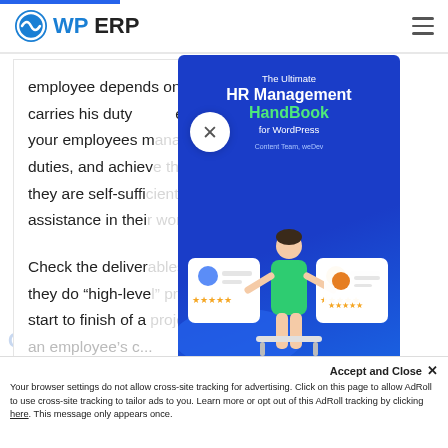WP ERP
employee depends on how smoothly he carries his duty and to observe closely the ways your employees manage their duties, and achieve the targets. If they are self-sufficient or need assistance in their work.
Check the deliverables and see if they do “high-level” project from start to finish of a project. Track an employee’s...
[Figure (illustration): HR Management HandBook for WordPress book cover popup with illustration of person reviewing HR profiles]
Accept and Close ×
Your browser settings do not allow cross-site tracking for advertising. Click on this page to allow AdRoll to use cross-site tracking to tailor ads to you. Learn more or opt out of this AdRoll tracking by clicking here. This message only appears once.